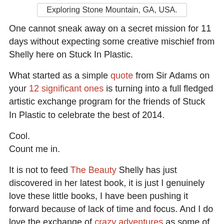Exploring Stone Mountain, GA, USA.
One cannot sneak away on a secret mission for 11 days without expecting some creative mischief from Shelly here on Stuck In Plastic.
What started as a simple quote from Sir Adams on your 12 significant ones is turning into a full fledged artistic exchange program for the friends of Stuck In Plastic to celebrate the best of 2014.
Cool.
Count me in.
It is not to feed The Beauty Shelly has just discovered in her latest book, it is just I genuinely love these little books, I have been pushing it forward because of lack of time and focus. And I do love the exchange of crazy adventures as some of you may remember.
So, no more excuses.
The power of now.